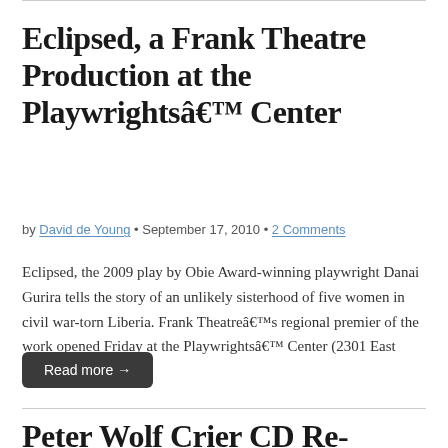Eclipsed, a Frank Theatre Production at the Playwrightsâ€™ Center
by David de Young • September 17, 2010 • 2 Comments
Eclipsed, the 2009 play by Obie Award-winning playwright Danai Gurira tells the story of an unlikely sisterhood of five women in civil war-torn Liberia. Frank Theatreâ€™s regional premier of the work opened Friday at the Playwrightsâ€™ Center (2301 East Franklin…
Read more →
Peter Wolf Crier CD Re-Release with Kill The…